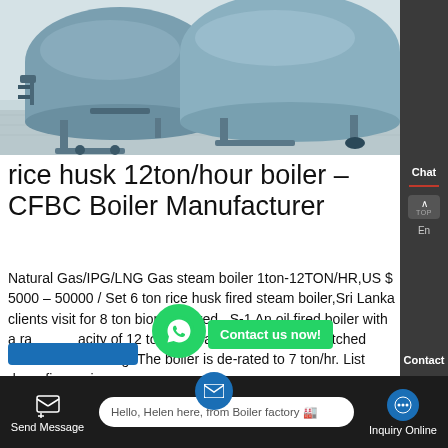[Figure (photo): Industrial boilers in a facility — large cylindrical blue/grey boiler tanks with pipes and fittings on a factory floor]
rice husk 12ton/hour boiler – CFBC Boiler Manufacturer
Natural Gas/IPG/LNG Gas steam boiler 1ton-12TON/HR,US $ 5000 – 50000 / Set 6 ton rice husk fired steam boiler,Sri Lanka clients visit for 8 ton biomass fired . S-1 An oil fired boiler with a rated capacity of 12 ton/hr steam generation is switched over rice husk firing. The boiler is de-rated to 7 ton/hr. List down five major
Chat
En
Contact
Contact us now!
Hello, Helen here, from Boiler factory 🏭
Send Message
Inquiry Online